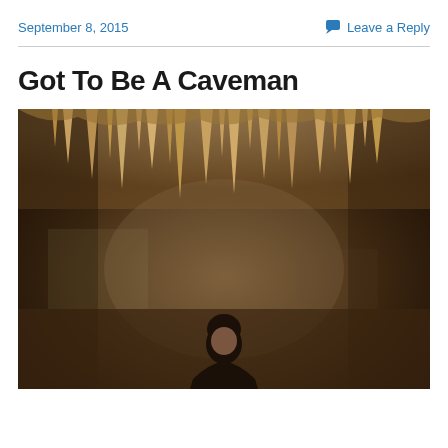September 8, 2015
Leave a Reply
Got To Be A Caveman
[Figure (photo): A man standing inside a cave with stalactites hanging from the ceiling. The cave walls and ceiling show brown and tan rocky formations. The person is visible in the lower center of the frame, looking upward or forward, against the dramatic cave backdrop.]